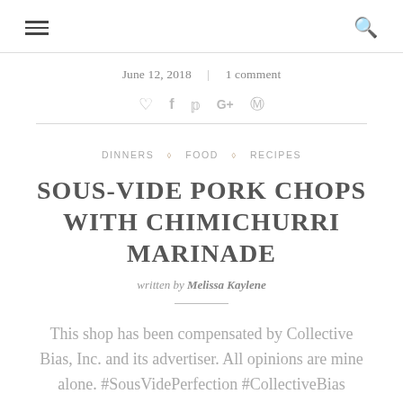≡  🔍
June 12, 2018  |  1 comment
[Figure (infographic): Social sharing icons: heart, facebook, twitter, google+, pinterest]
DINNERS ◇ FOOD ◇ RECIPES
SOUS-VIDE PORK CHOPS WITH CHIMICHURRI MARINADE
written by Melissa Kaylene
This shop has been compensated by Collective Bias, Inc. and its advertiser. All opinions are mine alone. #SousVidePerfection #CollectiveBias